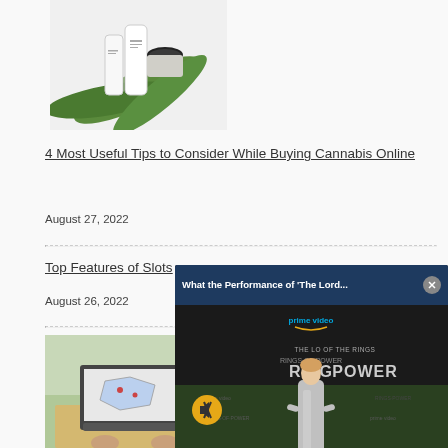[Figure (photo): Beauty/skincare products (white tubes and a jar) with green palm leaves on a white background]
4 Most Useful Tips to Consider While Buying Cannabis Online
August 27, 2022
Top Features of Slots…
August 26, 2022
[Figure (photo): Laptop on outdoor table showing a map or diagram on screen]
[Figure (screenshot): Video overlay popup: 'What the Performance of The Lord…' with Prime Video Rings of Power promotional image showing a woman in silver dress at a red carpet event. Mute button visible.]